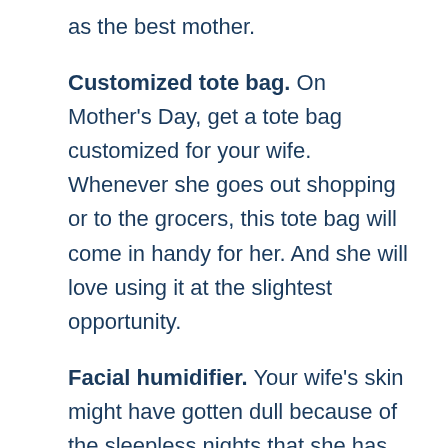as the best mother.
Customized tote bag. On Mother's Day, get a tote bag customized for your wife. Whenever she goes out shopping or to the grocers, this tote bag will come in handy for her. And she will love using it at the slightest opportunity.
Facial humidifier. Your wife's skin might have gotten dull because of the sleepless nights that she has spent while she was taking care of your child. Help your wife get back her glowing skin by gifting her a facial humidifier on this